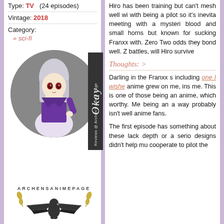Type: TV (24 episodes)
Vintage: 2018
Category:
» sci-fi
[Figure (illustration): Circular illustration of an anime character with long silver/white hair wearing a purple uniform, with the label 'Okay' and 'Reviews @ Archen's Anime Page' on a dark sidebar]
[Figure (logo): Archen's Anime Page logo with stylized text and eagle emblem]
Hiro has been training but can't mesh well with being a pilot so it's inevitable. A meeting with a mysterious girl with pink blood and small horns is rare enough, but known for sucking the life out of Franxx with. Zero Two, and against odds they bond well. Zero Two battles, will Hiro survive
Thoughts: >
Darling in the Franxx s including one I wished anime grew on me, ins me. This is one of those being an anime, which worthy. Me being an a way probably isn't well anime fans.
The first episode has something about these lack depth or a serio designs didn't help mu cooperate to pilot the